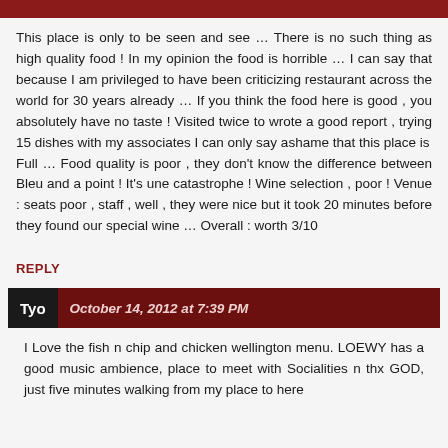This place is only to be seen and see … There is no such thing as high quality food ! In my opinion the food is horrible … I can say that because I am privileged to have been criticizing restaurant across the world for 30 years already … If you think the food here is good , you absolutely have no taste ! Visited twice to wrote a good report , trying 15 dishes with my associates I can only say ashame that this place is
Full … Food quality is poor , they don't know the difference between Bleu and a point ! It's une catastrophe ! Wine selection , poor ! Venue : seats poor , staff , well , they were nice but it took 20 minutes before they found our special wine … Overall : worth 3/10
REPLY
Tyo  October 14, 2012 at 7:39 PM
I Love the fish n chip and chicken wellington menu. LOEWY has a good music ambience, place to meet with Socialities n thx GOD, just five minutes walking from my place to here